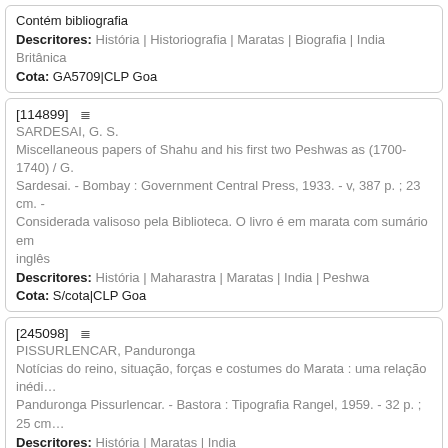Contém bibliografia
Descritores: História | Historiografia | Maratas | Biografia | India Britânica
Cota: GA5709|CLP Goa
[114899]
SARDESAI, G. S.
Miscellaneous papers of Shahu and his first two Peshwas as (1700-1740) / G. Sardesai. - Bombay : Government Central Press, 1933. - v, 387 p. ; 23 cm. - Considerada valisoso pela Biblioteca. O livro é em marata com sumário em inglês
Descritores: História | Maharastra | Maratas | India | Peshwa
Cota: S/cota|CLP Goa
[245098]
PISSURLENCAR, Panduronga
Notícias do reino, situação, forças e costumes do Marata : uma relação inédi... Panduronga Pissurlencar. - Bastora : Tipografia Rangel, 1959. - 32 p. ; 25 cm...
Descritores: História | Maratas | India
Cota: P369|CLP Goa
[114943]
RANADE, M. G.
Rise of the Maratha power / M. G. Ranade. - Bombay : Punalekar & Co., 190...
v, 324 p. ; 17 cm. - Considerado valioso pela Biblioteca
Descritores: História | India medieval | Maratas